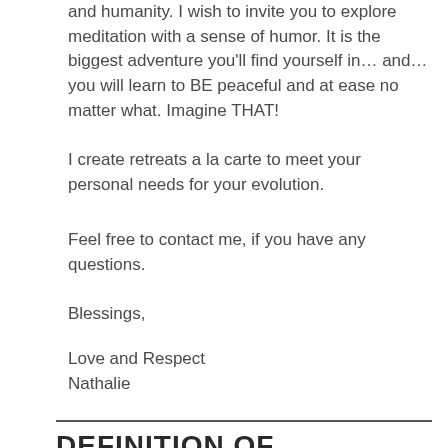and humanity. I wish to invite you to explore meditation with a sense of humor. It is the biggest adventure you'll find yourself in… and… you will learn to BE peaceful and at ease no matter what. Imagine THAT!
I create retreats a la carte to meet your personal needs for your evolution.
Feel free to contact me, if you have any questions.
Blessings,
Love and Respect
Nathalie
DEFINITION OF